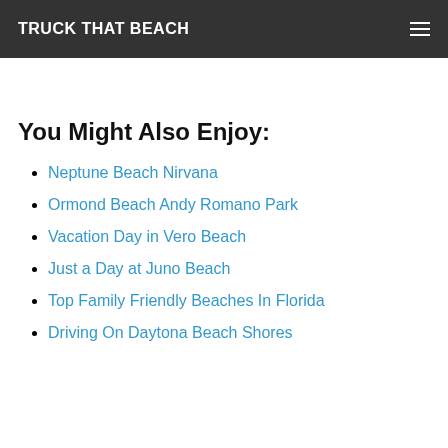TRUCK THAT BEACH
You Might Also Enjoy:
Neptune Beach Nirvana
Ormond Beach Andy Romano Park
Vacation Day in Vero Beach
Just a Day at Juno Beach
Top Family Friendly Beaches In Florida
Driving On Daytona Beach Shores